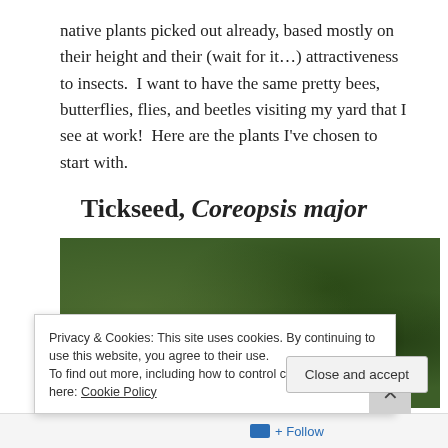native plants picked out already, based mostly on their height and their (wait for it...) attractiveness to insects.  I want to have the same pretty bees, butterflies, flies, and beetles visiting my yard that I see at work!  Here are the plants I've chosen to start with.
Tickseed, Coreopsis major
[Figure (photo): Blurred green foliage photograph, showing leafy plants with dark and light green tones, slightly out of focus.]
Privacy & Cookies: This site uses cookies. By continuing to use this website, you agree to their use.
To find out more, including how to control cookies, see here: Cookie Policy